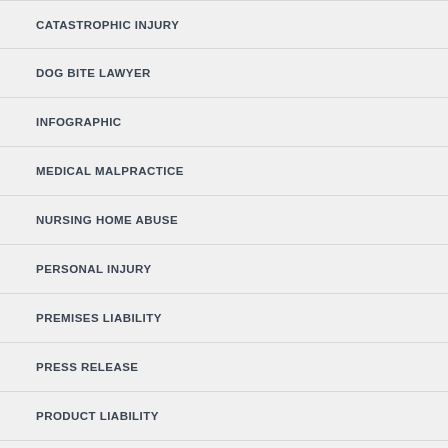CATASTROPHIC INJURY
DOG BITE LAWYER
INFOGRAPHIC
MEDICAL MALPRACTICE
NURSING HOME ABUSE
PERSONAL INJURY
PREMISES LIABILITY
PRESS RELEASE
PRODUCT LIABILITY